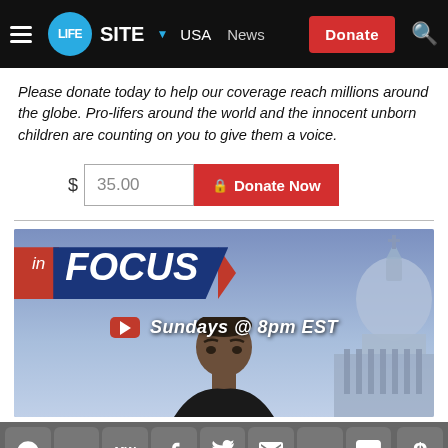LifeSite — USA News — Donate
Please donate today to help our coverage reach millions around the globe. Pro-lifers around the world and the innocent unborn children are counting on you to give them a voice.
[Figure (screenshot): Donation form with $35.00 input and red Donate Now button]
[Figure (infographic): In Focus show banner — Sundays @ 8pm EST on YouTube, showing a man's face and St. Peter's Basilica dome in background]
Social sharing icons: Telegram, Gab, MeWe, Facebook, Twitter, Email, Print, Comment, Donate